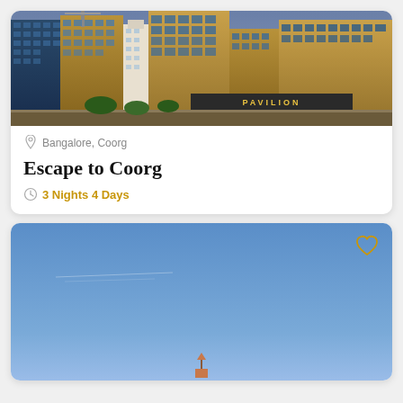[Figure (photo): City skyline with tall brown and gold commercial buildings, a pavilion sign visible at the bottom, urban scene]
Bangalore, Coorg
Escape to Coorg
3 Nights 4 Days
[Figure (photo): Blue sky with a small structure at the bottom, heart/like icon in top right corner]